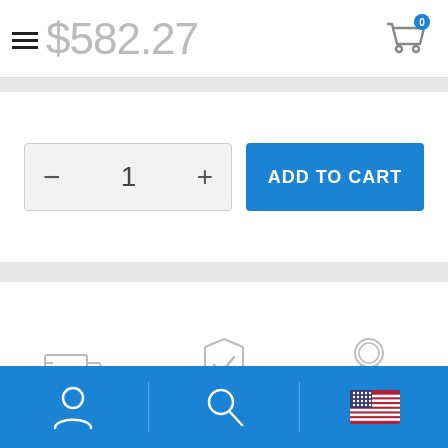$582.27
ADD TO CART
[Figure (infographic): Three feature icons with labels: truck icon (QUICK DELIVERY OPTIONS), shield checkmark icon (FAST ORDER PROCESSING), ribbon/award icon (SATISFACTION GUARANTEED)]
SHARE
Bottom navigation bar with user icon, search icon, and US flag icon